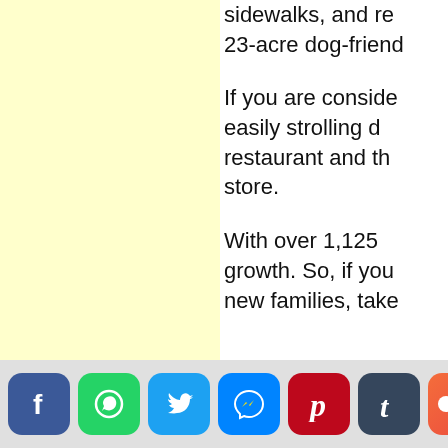sidewalks, and re... 23-acre dog-friend...
If you are conside... easily strolling d... restaurant and th... store.
With over 1,125 ... growth. So, if you... new families, take...
[Figure (other): Social media share bar with icons: Facebook (blue), WhatsApp (green), Twitter (light blue), Messenger (blue), Pinterest (red), Tumblr (dark blue), and a Message button (orange-red gradient)]